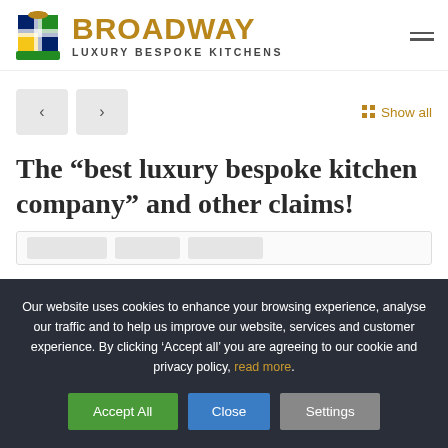[Figure (logo): Broadway Luxury Bespoke Kitchens logo with heraldic emblem and gold text]
[Figure (other): Navigation arrow buttons (left and right) and Show all link]
The “best luxury bespoke kitchen company” and other claims!
Our website uses cookies to enhance your browsing experience, analyse our traffic and to help us improve our website, services and customer experience. By clicking ‘Accept all’ you are agreeing to our cookie and privacy policy, read more.